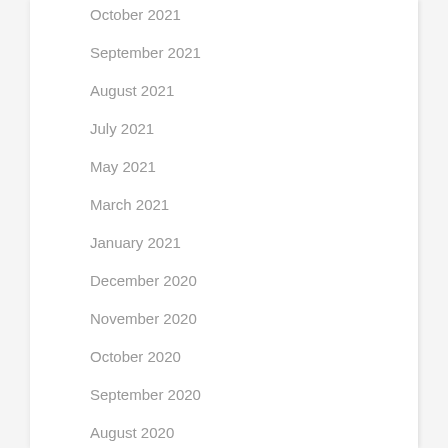October 2021
September 2021
August 2021
July 2021
May 2021
March 2021
January 2021
December 2020
November 2020
October 2020
September 2020
August 2020